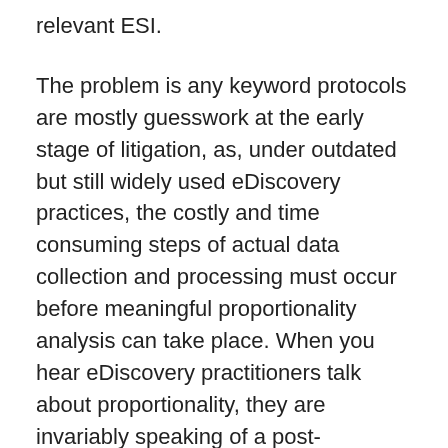relevant ESI.
The problem is any keyword protocols are mostly guesswork at the early stage of litigation, as, under outdated but still widely used eDiscovery practices, the costly and time consuming steps of actual data collection and processing must occur before meaningful proportionality analysis can take place. When you hear eDiscovery practitioners talk about proportionality, they are invariably speaking of a post-collection, pre-review process. But without requisite pre-collection visibility into distributed ESI, counsel typically resort to directing broad collection efforts, resulting in much greater costs, burden and delays.
X1 recently hosted a webinar featuring prominent industry experts including attorney David Horrigan of Relativity,